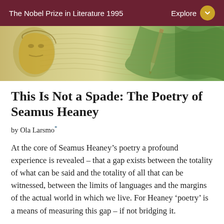The Nobel Prize in Literature 1995
[Figure (illustration): Decorative hero banner image showing an illustrated portrait of Seamus Heaney on the left with golden-green tones, wavy lines in the background resembling text or landscape, and a pen/pencil on the right side.]
This Is Not a Spade: The Poetry of Seamus Heaney
by Ola Larsmo*
At the core of Seamus Heaney’s poetry a profound experience is revealed – that a gap exists between the totality of what can be said and the totality of all that can be witnessed, between the limits of languages and the margins of the actual world in which we live. For Heaney ‘poetry’ is a means of measuring this gap – if not bridging it.